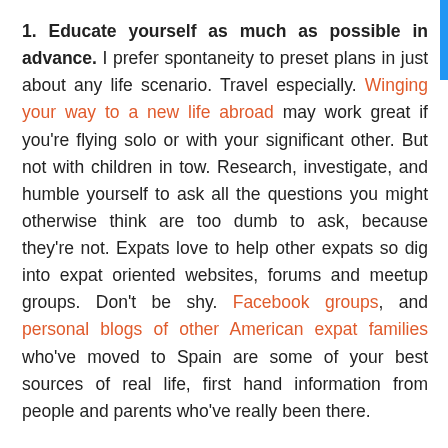1. Educate yourself as much as possible in advance. I prefer spontaneity to preset plans in just about any life scenario. Travel especially. Winging your way to a new life abroad may work great if you're flying solo or with your significant other. But not with children in tow. Research, investigate, and humble yourself to ask all the questions you might otherwise think are too dumb to ask, because they're not. Expats love to help other expats so dig into expat oriented websites, forums and meetup groups. Don't be shy. Facebook groups, and personal blogs of other American expat families who've moved to Spain are some of your best sources of real life, first hand information from people and parents who've really been there.
2. A little paid guidance with the right consultant will save you money, time and a whole lot of unnecessary